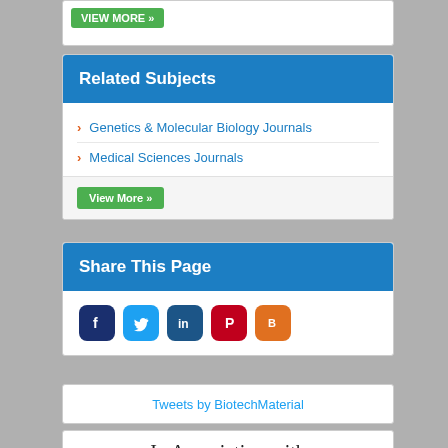[Figure (screenshot): Partial view of a 'View More' green button at the top of the page]
Related Subjects
Genetics & Molecular Biology Journals
Medical Sciences Journals
View More »
Share This Page
[Figure (infographic): Row of social media icons: Facebook, Twitter, LinkedIn, Pinterest, Blogger]
Tweets by BiotechMaterial
In Association with
[Figure (illustration): Partial gold/orange decorative balls or spheres image at the bottom]